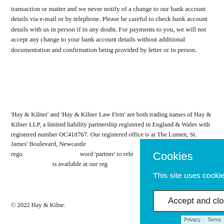transaction or matter and we never notify of a change to our bank account details via e-mail or by telephone. Please be careful to check bank account details with us in person if in any doubt. For payments to you, we will not accept any change to your bank account details without additional documentation and confirmation being provided by letter or in person.
'Hay & Kilner' and 'Hay & Kilner Law Firm' are both trading names of Hay & Kilner LLP, a limited liability partnership registered in England & Wales with registered number OC418767. Our registered office is at The Lumen, St. James' Boulevard, Newcastle [partially obscured] authorised and regu[lated] [partially obscured] word 'partner' to refe[r] [partially obscured] is available at our reg[istered office]
[Figure (other): Cookies consent banner overlay with cyan/teal background. Title: 'Cookies'. Body text: 'This site uses cookies: Find out more.' Button: 'Accept and close']
© 2022 Hay & Kilne[r]
Privacy · Terms